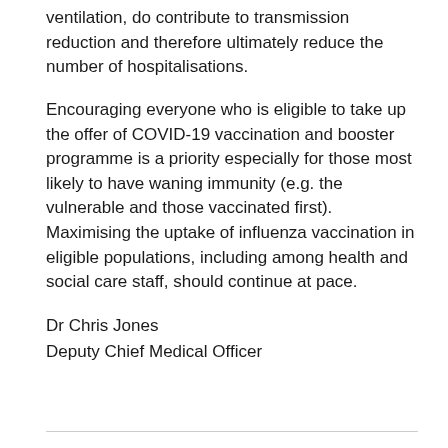ventilation, do contribute to transmission reduction and therefore ultimately reduce the number of hospitalisations.
Encouraging everyone who is eligible to take up the offer of COVID-19 vaccination and booster programme is a priority especially for those most likely to have waning immunity (e.g. the vulnerable and those vaccinated first). Maximising the uptake of influenza vaccination in eligible populations, including among health and social care staff, should continue at pace.
Dr Chris Jones
Deputy Chief Medical Officer